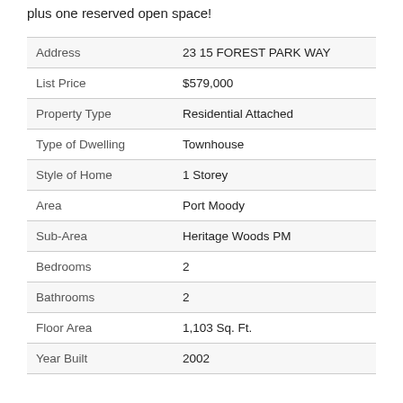plus one reserved open space!
| Field | Value |
| --- | --- |
| Address | 23 15 FOREST PARK WAY |
| List Price | $579,000 |
| Property Type | Residential Attached |
| Type of Dwelling | Townhouse |
| Style of Home | 1 Storey |
| Area | Port Moody |
| Sub-Area | Heritage Woods PM |
| Bedrooms | 2 |
| Bathrooms | 2 |
| Floor Area | 1,103 Sq. Ft. |
| Year Built | 2002 |